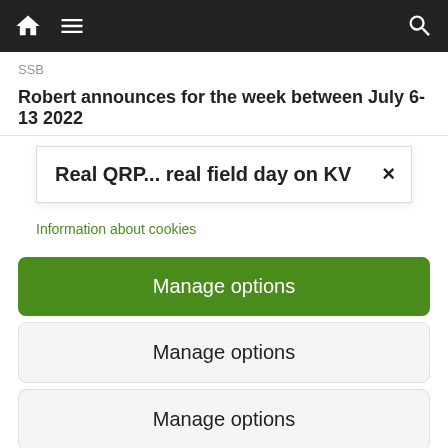[Figure (screenshot): Navigation bar with home icon, hamburger menu icon, and search icon on dark background]
SSB
Robert announces for the week between July 6-13 2022
Real QRP... real field day on KV
Information about cookies
Manage options
Manage options
Manage options
{Manage options}